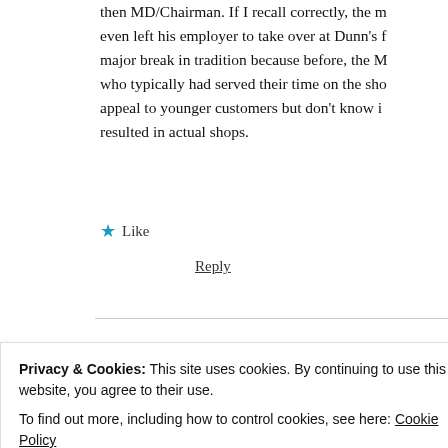then MD/Chairman. If I recall correctly, the m even left his employer to take over at Dunn's f major break in tradition because before, the M who typically had served their time on the sho appeal to younger customers but don't know i resulted in actual shops.
★ Like
Reply
[Figure (photo): Three circular avatar photos of people and a blue circle with a plus sign]
Privacy & Cookies: This site uses cookies. By continuing to use this website, you agree to their use.
To find out more, including how to control cookies, see here: Cookie Policy
Close and accept